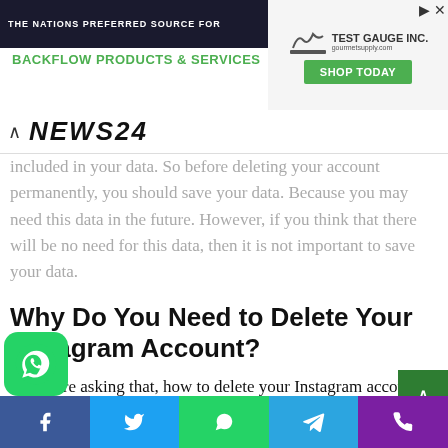[Figure (screenshot): Advertisement banner for Backflow Products and Services with Test Gauge Inc. logo and Shop Today button]
NEWS24
included in your data. So before deleting your account permanently, you should save your data. Because you may need this data in the future. However, if you think that there will be no need for this data, then it is not important to save your data.
Why Do You Need to Delete Your Instagram Account?
If you are asking that, how to delete your Instagram account permanently? Then it looks different because there are unlimited advantages of using Instagram accounts for your personal as well as business life.